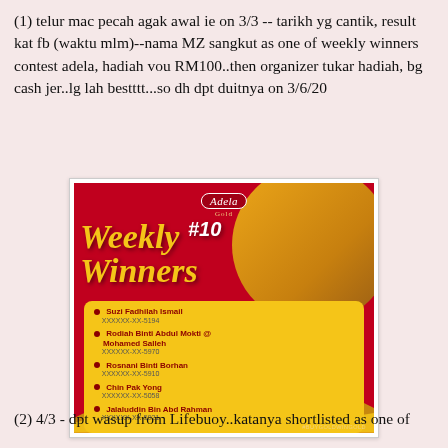(1) telur mac pecah agak awal ie on 3/3 -- tarikh yg cantik, result kat fb (waktu mlm)--nama MZ sangkut as one of weekly winners contest adela, hadiah vou RM100..then organizer tukar hadiah, bg cash jer..lg lah bestttt...so dh dpt duitnya on 3/6/20
[Figure (photo): Promotional image for Adela Gold Weekly #10 Winners contest, showing 5 winners' names and partial ID numbers on a red and gold background.]
(2) 4/3 - dpt wasup from Lifebuoy..katanya shortlisted as one of